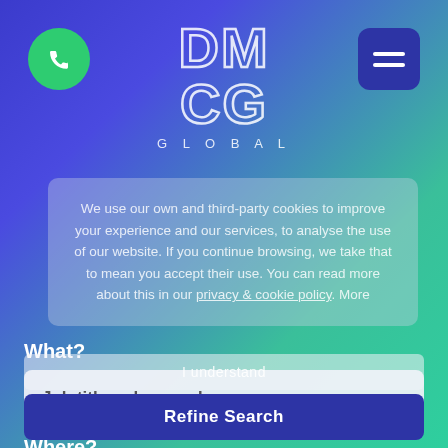[Figure (logo): DMCG GLOBAL logo with outline white letters on gradient blue-green background]
[Figure (infographic): Green phone icon button (circle) top left, dark blue hamburger menu button top right]
We use our own and third-party cookies to improve your experience and our services, to analyse the use of our website. If you continue browsing, we take that to mean you accept their use. You can read more about this in our privacy & cookie policy. More
What?
Job title or keywords
Where?
I understand
Refine Search